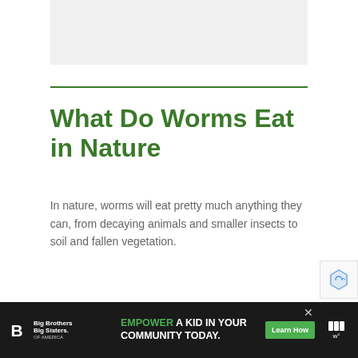[Figure (photo): Light gray placeholder image area at top of page]
What Do Worms Eat in Nature
In nature, worms will eat pretty much anything they can, from decaying animals and smaller insects to soil and fallen vegetation.
Big Brothers Big Sisters of America — EMPOWER A KID IN YOUR COMMUNITY TODAY. Learn How